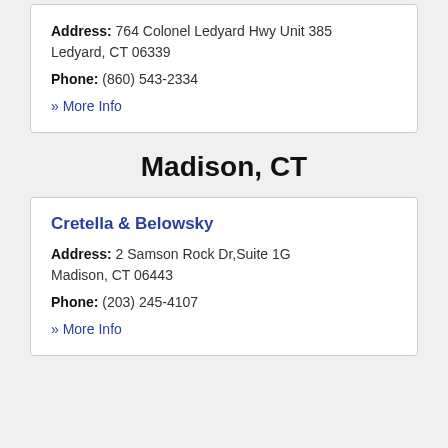Address: 764 Colonel Ledyard Hwy Unit 385 Ledyard, CT 06339
Phone: (860) 543-2334
» More Info
Madison, CT
Cretella & Belowsky
Address: 2 Samson Rock Dr,Suite 1G Madison, CT 06443
Phone: (203) 245-4107
» More Info